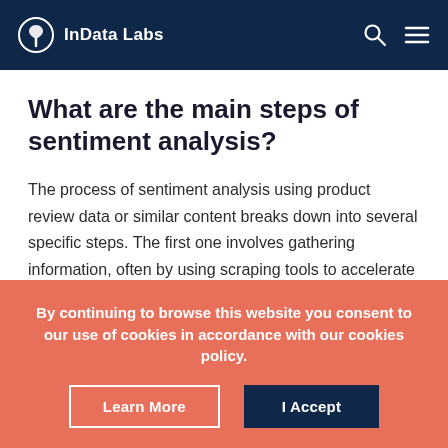InData Labs
What are the main steps of sentiment analysis?
The process of sentiment analysis using product review data or similar content breaks down into several specific steps. The first one involves gathering information, often by using scraping tools to accelerate this phase. This enables the creation of a customer review dataset for sentiment analysis.
By continuing to browse this website you consent to our use of cookies in accordance with our cookies policy.